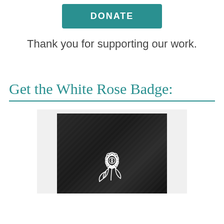[Figure (other): Teal DONATE button]
Thank you for supporting our work.
Get the White Rose Badge:
[Figure (photo): Photo of a white rose enamel badge/pin on dark denim fabric background]